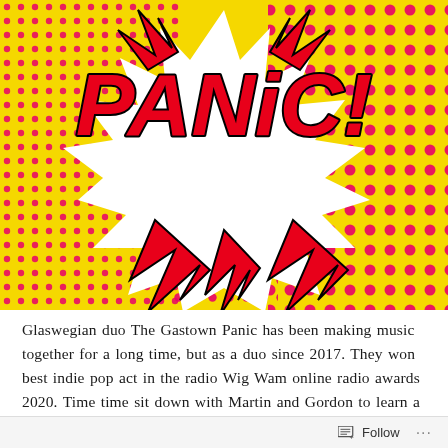[Figure (illustration): Comic book style pop-art illustration with yellow halftone dot background and pink dots. A white starburst/explosion shape in the center contains bold red italic text reading 'PANiC!' with black outline. Red and black jagged lightning bolt shapes surround the burst.]
Glaswegian duo The Gastown Panic has been making music together for a long time, but as a duo since 2017. They won best indie pop act in the radio Wig Wam online radio awards 2020. Time time sit down with Martin and Gordon to learn a little more about them.
Follow ···